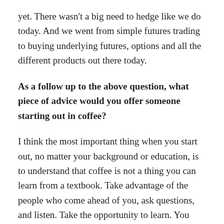yet. There wasn't a big need to hedge like we do today. And we went from simple futures trading to buying underlying futures, options and all the different products out there today.
As a follow up to the above question, what piece of advice would you offer someone starting out in coffee?
I think the most important thing when you start out, no matter your background or education, is to understand that coffee is not a thing you can learn from a textbook. Take advantage of the people who come ahead of you, ask questions, and listen. Take the opportunity to learn. You will eventually get to the same result, but your approach will be different dealing with a different demographic and environment. You'll have a whole new